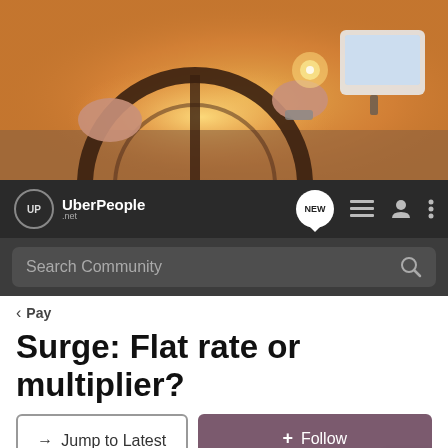[Figure (photo): Hero image showing hands on a car steering wheel with a GPS device visible, warm golden sunlight in background]
UberPeople.net — Navigation bar with logo, NEW chat button, menu icons, and user icon
Search Community
< Pay
Surge: Flat rate or multiplier?
→ Jump to Latest
+ Follow
1 - 20 of 41 Posts
1 of 3
Terrapin Bound · Premium Member 🇺🇸